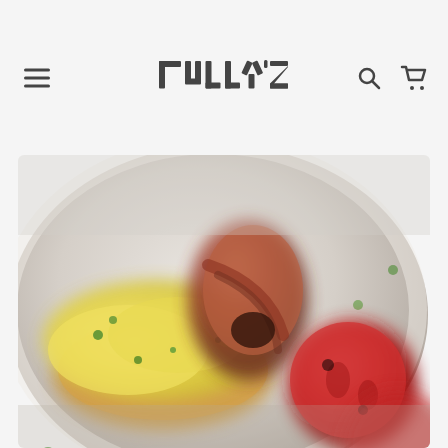[Figure (logo): TULLY'Z restaurant logo in stylized bold dark gray text]
[Figure (photo): Close-up blurred photo of a breakfast plate with scrambled eggs, bacon-wrapped sausage, tomatoes, and herbs on a white plate]